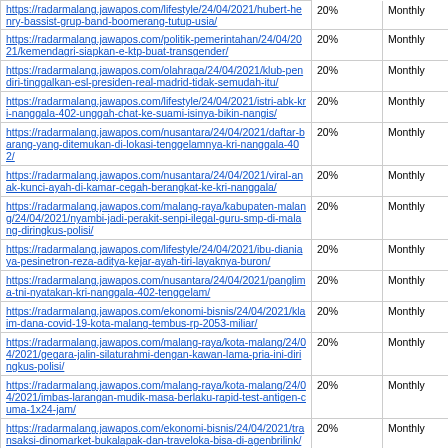| https://radarmalang.jawapos.com/lifestyle/24/04/2021/hubert-henry-bassist-grup-band-boomerang-tutup-usia/ | 20% | Monthly |
| https://radarmalang.jawapos.com/politik-pemerintahan/24/04/2021/kemendagri-siapkan-e-ktp-buat-transgender/ | 20% | Monthly |
| https://radarmalang.jawapos.com/olahraga/24/04/2021/klub-pendiri-tinggalkan-esl-presiden-real-madrid-tidak-semudah-itu/ | 20% | Monthly |
| https://radarmalang.jawapos.com/lifestyle/24/04/2021/istri-abk-kri-nanggala-402-unggah-chat-ke-suami-isinya-bikin-nangis/ | 20% | Monthly |
| https://radarmalang.jawapos.com/nusantara/24/04/2021/daftar-barang-yang-ditemukan-di-lokasi-tenggelamnya-kri-nanggala-402/ | 20% | Monthly |
| https://radarmalang.jawapos.com/nusantara/24/04/2021/viral-anak-kunci-ayah-di-kamar-cegah-berangkat-ke-kri-nanggala/ | 20% | Monthly |
| https://radarmalang.jawapos.com/malang-raya/kabupaten-malang/24/04/2021/nyambi-jadi-perakit-senpi-ilegal-guru-smp-di-malang-diringkus-polisi/ | 20% | Monthly |
| https://radarmalang.jawapos.com/lifestyle/24/04/2021/ibu-dianiaya-pesinetron-reza-aditya-kejar-ayah-tiri-layaknya-buron/ | 20% | Monthly |
| https://radarmalang.jawapos.com/nusantara/24/04/2021/panglima-tni-nyatakan-kri-nanggala-402-tenggelam/ | 20% | Monthly |
| https://radarmalang.jawapos.com/ekonomi-bisnis/24/04/2021/klaim-dana-covid-19-kota-malang-tembus-rp-2053-miliar/ | 20% | Monthly |
| https://radarmalang.jawapos.com/malang-raya/kota-malang/24/04/2021/gegara-jalin-silaturahmi-dengan-kawan-lama-pria-ini-diringkus-polisi/ | 20% | Monthly |
| https://radarmalang.jawapos.com/malang-raya/kota-malang/24/04/2021/imbas-larangan-mudik-masa-berlaku-rapid-test-antigen-cuma-1x24-jam/ | 20% | Monthly |
| https://radarmalang.jawapos.com/ekonomi-bisnis/24/04/2021/transaksi-dinomarket-bukalapak-dan-traveloka-bisa-di-agenbrilink/ | 20% | Monthly |
| https://radarmalang.jawapos.com/malang-raya/kota-malang/24/04/2021/jelang-lebaran-ka-jarak-jauh-berhenti-beroperasi-awal-mei/ | 20% | Monthly |